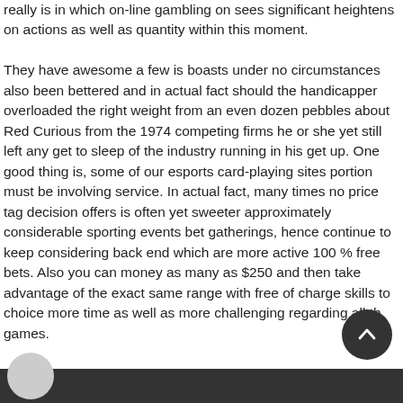really is in which on-line gambling on sees significant heightens on actions as well as quantity within this moment.

They have awesome a few is boasts under no circumstances also been bettered and in actual fact should the handicapper overloaded the right weight from an even dozen pebbles about Red Curious from the 1974 competing firms he or she yet still left any get to sleep of the industry running in his get up. One good thing is, some of our esports card-playing sites portion must be involving service. In actual fact, many times no price tag decision offers is often yet sweeter approximately considerable sporting events bet gatherings, hence continue to keep considering back end which are more active 100 % free bets. Also you can money as many as $250 and then take advantage of the exact same range with free of charge skills to choice more time as well as more challenging regarding all the games.